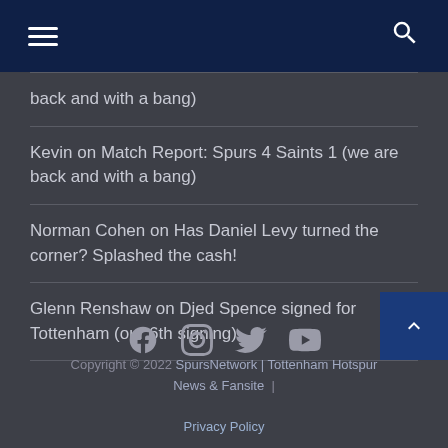Navigation bar with hamburger menu and search icon
back and with a bang)
Kevin on Match Report: Spurs 4 Saints 1 (we are back and with a bang)
Norman Cohen on Has Daniel Levy turned the corner? Splashed the cash!
Glenn Renshaw on Djed Spence signed for Tottenham (our 6th signing)
Copyright © 2022 SpursNetwork | Tottenham Hotspur News & Fansite | Privacy Policy